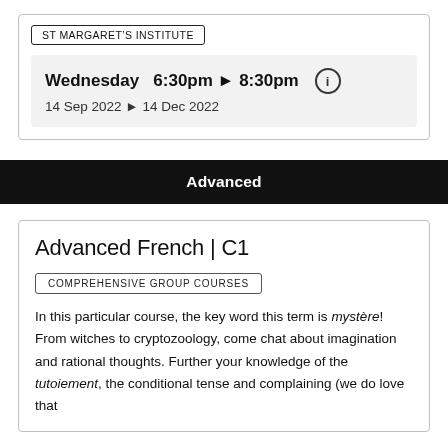ST MARGARET'S INSTITUTE
Wednesday  6:30pm ▶ 8:30pm
14 Sep 2022 ▶ 14 Dec 2022
Advanced
Advanced French | C1
COMPREHENSIVE GROUP COURSES
In this particular course, the key word this term is mystère! From witches to cryptozoology, come chat about imagination and rational thoughts. Further your knowledge of the tutoiement, the conditional tense and complaining (we do love that